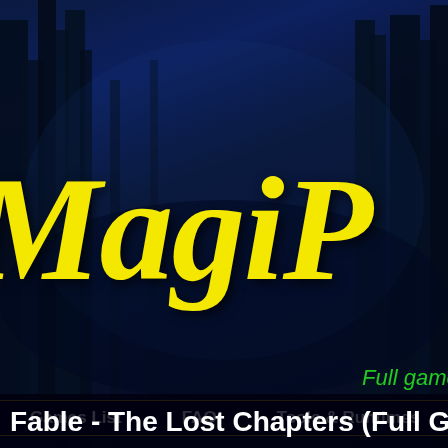[Figure (screenshot): Dark blue forest background with tall tree silhouettes]
MagiP
Full game repacks of old, classic
Games List   FAQ   Tools & Runtimes
Fable - The Lost Chapters (Full G